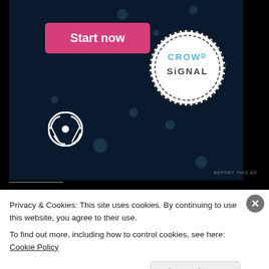[Figure (screenshot): Advertisement banner with dark navy background, 'Start now' pink button, WordPress logo, and Crowdsignal circular logo]
REPORT THIS AD
Share this:
[Figure (other): Share button with share icon]
[Figure (other): Like button with star icon]
Be the first to like this.
Privacy & Cookies: This site uses cookies. By continuing to use this website, you agree to their use.
To find out more, including how to control cookies, see here: Cookie Policy
Close and accept